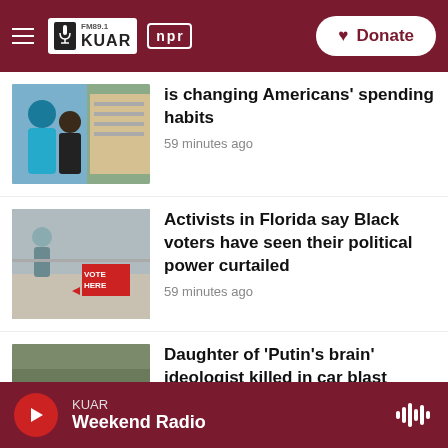FM 89.1 KUAR | NPR — Donate
is changing Americans' spending habits
59 minutes ago
Activists in Florida say Black voters have seen their political power curtailed
59 minutes ago
Daughter of 'Putin's brain' ideologist killed in car blast
1 hour ago
KUAR — Weekend Radio